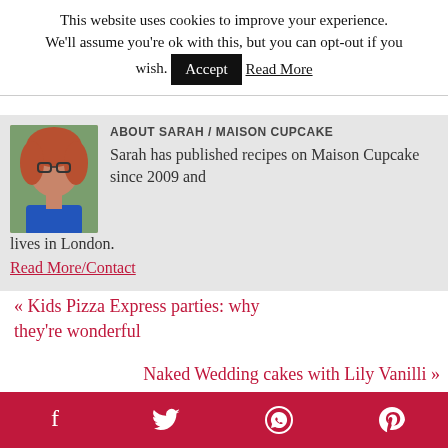This website uses cookies to improve your experience. We'll assume you're ok with this, but you can opt-out if you wish. [Accept] Read More
ABOUT SARAH / MAISON CUPCAKE
[Figure (photo): Portrait photo of Sarah, a woman with red curly hair and glasses, wearing a blue top, outdoors with greenery behind her.]
Sarah has published recipes on Maison Cupcake since 2009 and lives in London.
Read More/Contact
« Kids Pizza Express parties: why they're wonderful
Naked Wedding cakes with Lily Vanilli »
Social share icons: Facebook, Twitter, WhatsApp, Pinterest